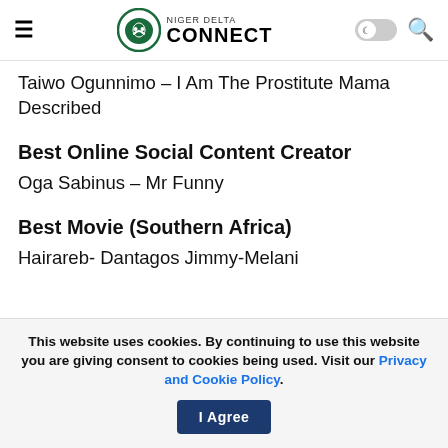Niger Delta Connect
Taiwo Ogunnimo – I Am The Prostitute Mama Described
Best Online Social Content Creator
Oga Sabinus – Mr Funny
Best Movie (Southern Africa)
Hairareb- Dantagos Jimmy-Melani
This website uses cookies. By continuing to use this website you are giving consent to cookies being used. Visit our Privacy and Cookie Policy. I Agree